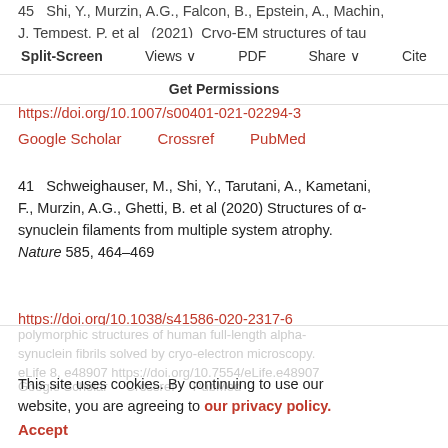40  Shi, Y., Murzin, A.G., Falcon, B., Epstein, A., Machin, J., Tempest, P. et al (2021) Cryo-EM structures of tau filaments from Alzheimer's disease with PET ligand APN-1607. Acta Neuropathol 141, 697–708 https://doi.org/10.1007/s00401-021-02294-3
Google Scholar   Crossref   PubMed
41  Schweighauser, M., Shi, Y., Tarutani, A., Kametani, F., Murzin, A.G., Ghetti, B. et al (2020) Structures of α-synuclein filaments from multiple system atrophy. Nature 585, 464–469 https://doi.org/10.1038/s41586-020-2317-6
Google Scholar   Crossref   PubMed
42  Guerrero-Ferreira, R., Taylor, N.M.I., Arteni, A.-A., Kumari, P., Mona, D., Ringler, P. et al (2019) Two new polymorphic structures of human full-length alpha-synuclein fibrils solved by cryo-electron microscopy. eLife 8, e48907 https://doi.org/10.7554/eLife.e48907
Google Scholar   Crossref   PubMed
This site uses cookies. By continuing to use our website, you are agreeing to our privacy policy. Accept